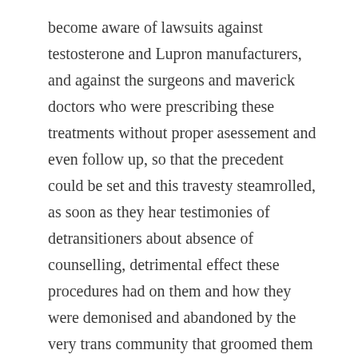become aware of lawsuits against testosterone and Lupron manufacturers, and against the surgeons and maverick doctors who were prescribing these treatments without proper asessement and even follow up, so that the precedent could be set and this travesty steamrolled, as soon as they hear testimonies of detransitioners about absence of counselling, detrimental effect these procedures had on them and how they were demonised and abandoned by the very trans community that groomed them in the first place, they'll realise that we're in the middle of the biggest, most brazen medical scandal we have ever seen, since WWII.
EDITED TO ADD:
A couple of things.